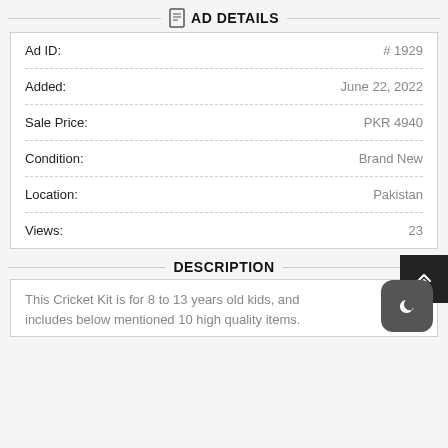AD DETAILS
| Field | Value |
| --- | --- |
| Ad ID: | # 1929 |
| Added: | June 22, 2022 |
| Sale Price: | PKR 4940 |
| Condition: | Brand New |
| Location: | Pakistan |
| Views: | 23 |
DESCRIPTION
This Cricket Kit is for 8 to 13 years old kids, and includes below mentioned 10 high quality items.